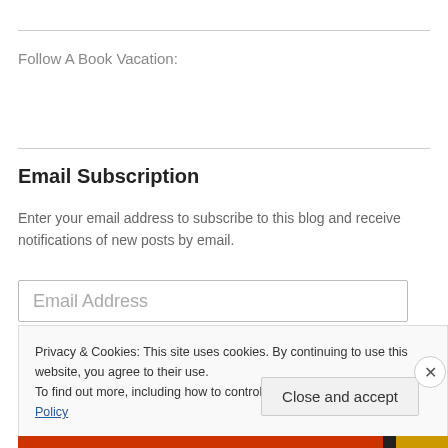Follow A Book Vacation:
Email Subscription
Enter your email address to subscribe to this blog and receive notifications of new posts by email.
Email Address
Privacy & Cookies: This site uses cookies. By continuing to use this website, you agree to their use.
To find out more, including how to control cookies, see here: Cookie Policy
Close and accept